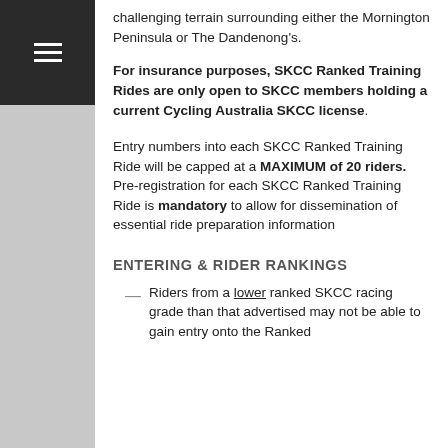challenging terrain surrounding either the Mornington Peninsula or The Dandenong's.
For insurance purposes, SKCC Ranked Training Rides are only open to SKCC members holding a current Cycling Australia SKCC license.
Entry numbers into each SKCC Ranked Training Ride will be capped at a MAXIMUM of 20 riders. Pre-registration for each SKCC Ranked Training Ride is mandatory to allow for dissemination of essential ride preparation information
ENTERING & RIDER RANKINGS
Riders from a lower ranked SKCC racing grade than that advertised may not be able to gain entry onto the Ranked